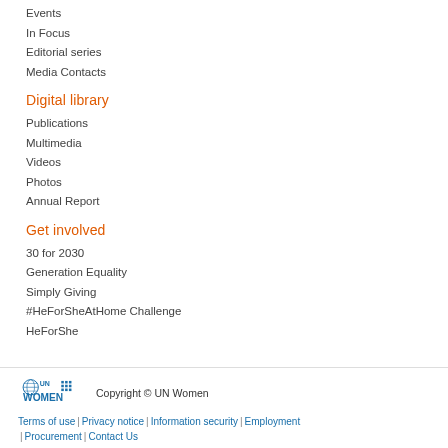Events
In Focus
Editorial series
Media Contacts
Digital library
Publications
Multimedia
Videos
Photos
Annual Report
Get involved
30 for 2030
Generation Equality
Simply Giving
#HeForSheAtHome Challenge
HeForShe
Copyright © UN Women | Terms of use | Privacy notice | Information security | Employment | Procurement | Contact Us